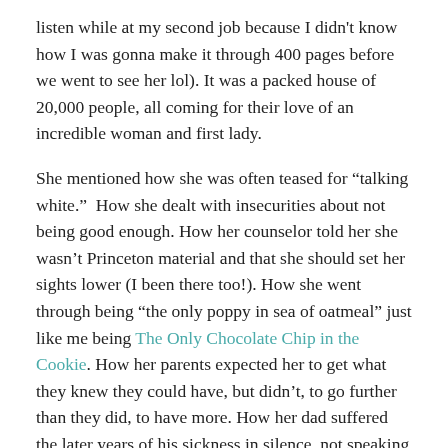listen while at my second job because I didn't know how I was gonna make it through 400 pages before we went to see her lol). It was a packed house of 20,000 people, all coming for their love of an incredible woman and first lady.
She mentioned how she was often teased for "talking white."  How she dealt with insecurities about not being good enough. How her counselor told her she wasn't Princeton material and that she should set her sights lower (I been there too!). How she went through being "the only poppy in sea of oatmeal" just like me being The Only Chocolate Chip in the Cookie. How her parents expected her to get what they knew they could have, but didn't, to go further than they did, to have more. How her dad suffered the later years of his sickness in silence, not speaking up earlier when he noticed